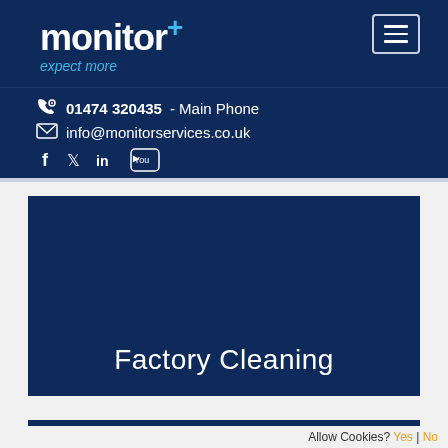[Figure (logo): Monitor+ logo with tagline 'expect more' on dark navy background]
📞 01474 320435 - Main Phone
✉ info@monitorservices.co.uk
[Figure (other): Social media icons: Facebook, Twitter, LinkedIn, YouTube]
[Figure (photo): Dark navy hero image banner for Factory Cleaning page]
Factory Cleaning
Allow Cookies? Yes | No